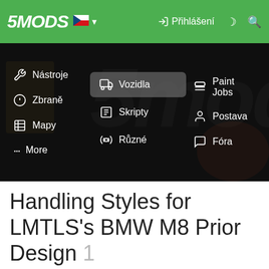5MODS — Přihlášení
[Figure (screenshot): 5MODS website navigation menu with green header bar showing logo, Czech flag, login button, and navigation categories: Nástroje, Vozidla (highlighted), Paint Jobs, Zbraně, Skripty, Postava, Mapy, Různé, Fóra, More. Background shows dark blurred game screenshot.]
Handling Styles for LMTLS's BMW M8 Prior Design 1